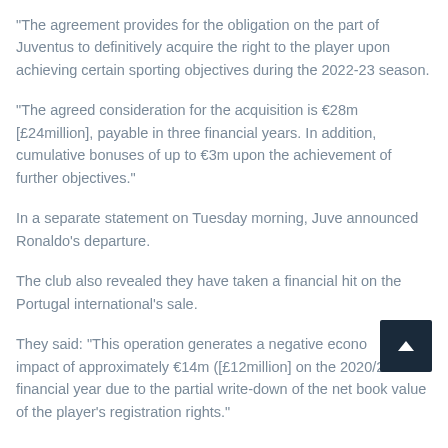“The agreement provides for the obligation on the part of Juventus to definitively acquire the right to the player upon achieving certain sporting objectives during the 2022-23 season.
“The agreed consideration for the acquisition is €28m [£24million], payable in three financial years. In addition, cumulative bonuses of up to €3m upon the achievement of further objectives.”
In a separate statement on Tuesday morning, Juve announced Ronaldo’s departure.
The club also revealed they have taken a financial hit on the Portugal international’s sale.
They said: “This operation generates a negative economic impact of approximately €14m ([£12million] on the 2020/2021 financial year due to the partial write-down of the net book value of the player’s registration rights.”